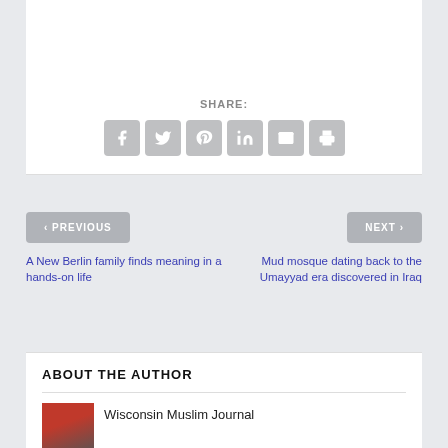SHARE:
[Figure (other): Social share icons: Facebook, Twitter, Pinterest, LinkedIn, Email, Print]
< PREVIOUS
NEXT >
A New Berlin family finds meaning in a hands-on life
Mud mosque dating back to the Umayyad era discovered in Iraq
ABOUT THE AUTHOR
Wisconsin Muslim Journal